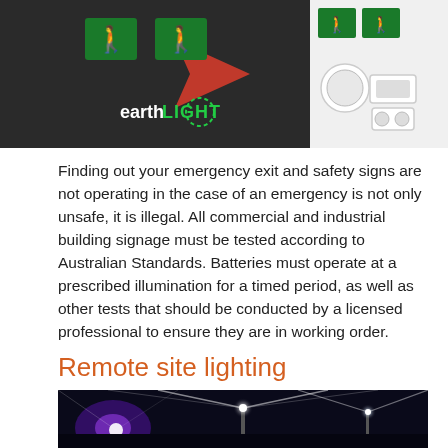[Figure (photo): Top image showing earthLIGHT branded emergency exit signs (green running man signs) on the left panel, and on the right panel white emergency lighting devices including circular and rectangular emergency light fittings against a white background.]
Finding out your emergency exit and safety signs are not operating in the case of an emergency is not only unsafe, it is illegal.  All commercial and industrial building signage must be tested according to Australian Standards.  Batteries must operate at a prescribed illumination for a timed period, as well as other tests that should be conducted by a licensed professional to ensure they are in working order.
Remote site lighting
[Figure (photo): Bottom image showing remote site lighting with bright white light flares/beams against a dark night sky background, appearing to show high-intensity outdoor lighting fixtures.]